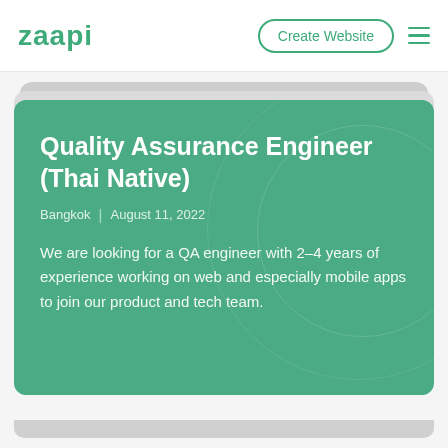zaapi | Create Website
Quality Assurance Engineer (Thai Native)
Bangkok | August 11, 2022
We are looking for a QA engineer with 2–4 years of experience working on web and especially mobile apps to join our product and tech team.